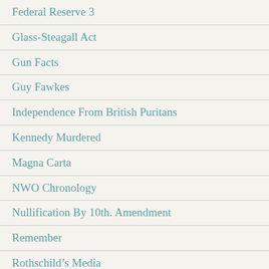Federal Reserve 3
Glass-Steagall Act
Gun Facts
Guy Fawkes
Independence From British Puritans
Kennedy Murdered
Magna Carta
NWO Chronology
Nullification By 10th. Amendment
Remember
Rothschild's Media